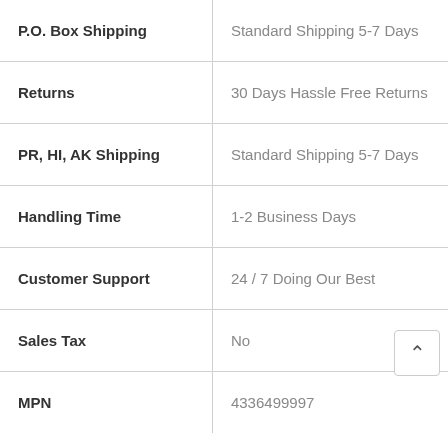|  |  |
| --- | --- |
| P.O. Box Shipping | Standard Shipping 5-7 Days |
| Returns | 30 Days Hassle Free Returns |
| PR, HI, AK Shipping | Standard Shipping 5-7 Days |
| Handling Time | 1-2 Business Days |
| Customer Support | 24 / 7 Doing Our Best |
| Sales Tax | No |
| MPN | 4336499997 |